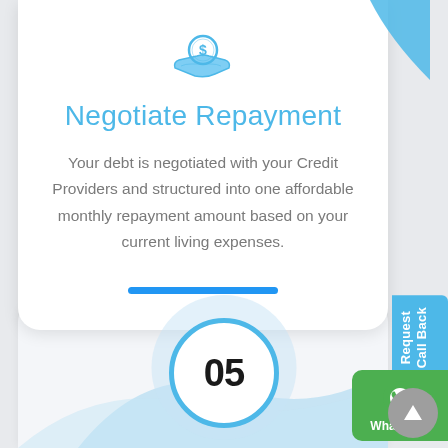[Figure (illustration): Hand holding a dollar coin icon in blue outline style, with a blue decorative wave in the top-right corner of the card]
Negotiate Repayment
Your debt is negotiated with your Credit Providers and structured into one affordable monthly repayment amount based on your current living expenses.
[Figure (illustration): Blue horizontal bar indicator at the bottom of the card]
[Figure (other): Request Call Back vertical tab button on the right edge in blue]
[Figure (other): WhatsApp green button on the right edge]
[Figure (other): Step 05 circle indicator with blue border and bold text '05', with light blue wave background in bottom card section]
[Figure (other): Grey up-arrow circular button at bottom right]